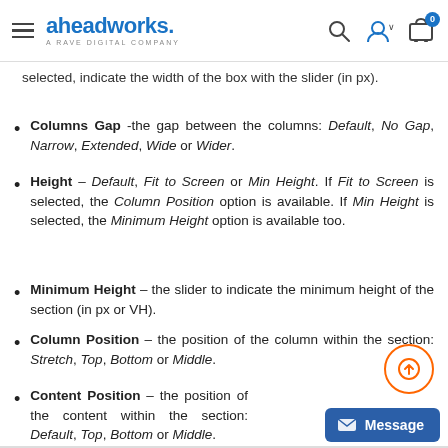aheadworks. A RAVE DIGITAL COMPANY
selected, indicate the width of the box with the slider (in px).
Columns Gap -the gap between the columns: Default, No Gap, Narrow, Extended, Wide or Wider.
Height – Default, Fit to Screen or Min Height. If Fit to Screen is selected, the Column Position option is available. If Min Height is selected, the Minimum Height option is available too.
Minimum Height – the slider to indicate the minimum height of the section (in px or VH).
Column Position – the position of the column within the section: Stretch, Top, Bottom or Middle.
Content Position – the position of the content within the section: Default, Top, Bottom or Middle.